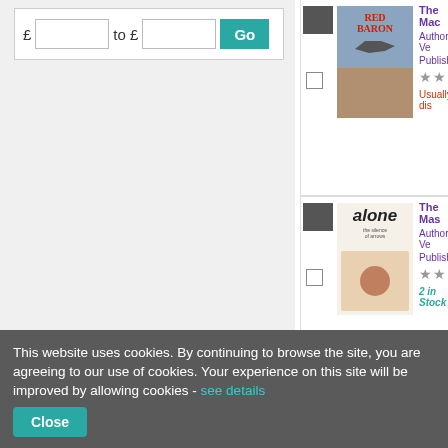[Figure (screenshot): Price filter UI with £ to £ input fields and Go button]
[Figure (screenshot): Book entry: The Mac... with Red Baron comic cover, Author: Ve..., Published:, 3-star rating, Usually dis...]
[Figure (screenshot): Book entry: The Mas... with Alone comic cover, Author: Ve..., Published:, 3-star rating, 2 in Stock]
This website uses cookies. By continuing to browse the site, you are agreeing to our use of cookies. Your experience on this site will be improved by allowing cookies - see details
Close